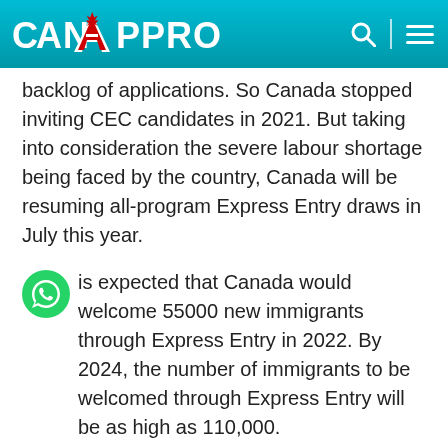CanApprove
backlog of applications. So Canada stopped inviting CEC candidates in 2021. But taking into consideration the severe labour shortage being faced by the country, Canada will be resuming all-program Express Entry draws in July this year.
It is expected that Canada would welcome 55000 new immigrants through Express Entry in 2022. By 2024, the number of immigrants to be welcomed through Express Entry will be as high as 110,000.